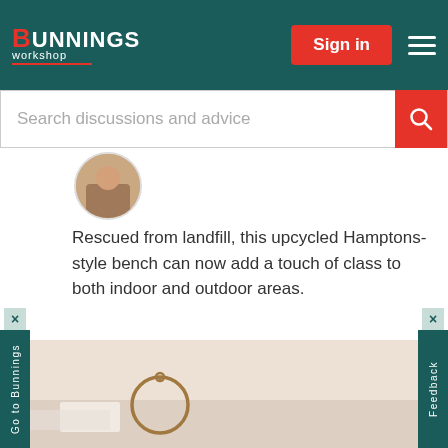Bunnings Workshop — Sign in
Search discussions and advice
Rescued from landfill, this upcycled Hamptons-style bench can now add a touch of class to both indoor and outdoor areas.
The project
Before and after
More Hamptons style project inspiration
How to upcycle with paint
[Figure (photo): Photo of a bench with decorative ring/hoop accessory on a light background]